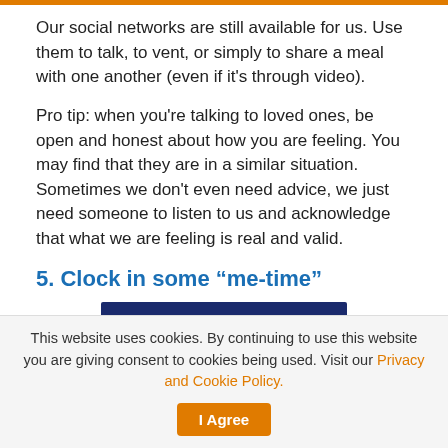Our social networks are still available for us. Use them to talk, to vent, or simply to share a meal with one another (even if it’s through video).
Pro tip: when you’re talking to loved ones, be open and honest about how you are feeling. You may find that they are in a similar situation. Sometimes we don’t even need advice, we just need someone to listen to us and acknowledge that what we are feeling is real and valid.
5. Clock in some “me-time”
[Figure (logo): flexworld 2022 logo on dark navy blue background with white text]
This website uses cookies. By continuing to use this website you are giving consent to cookies being used. Visit our Privacy and Cookie Policy.